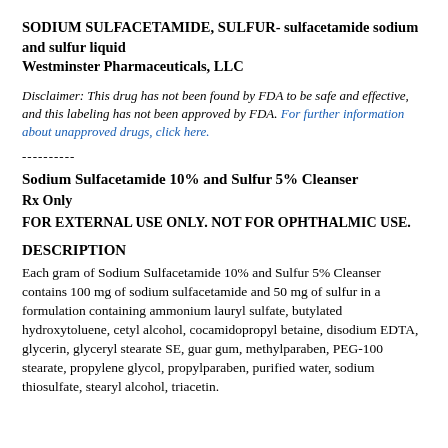SODIUM SULFACETAMIDE, SULFUR- sulfacetamide sodium and sulfur liquid
Westminster Pharmaceuticals, LLC
Disclaimer: This drug has not been found by FDA to be safe and effective, and this labeling has not been approved by FDA. For further information about unapproved drugs, click here.
----------
Sodium Sulfacetamide 10% and Sulfur 5% Cleanser
Rx Only
FOR EXTERNAL USE ONLY. NOT FOR OPHTHALMIC USE.
DESCRIPTION
Each gram of Sodium Sulfacetamide 10% and Sulfur 5% Cleanser contains 100 mg of sodium sulfacetamide and 50 mg of sulfur in a formulation containing ammonium lauryl sulfate, butylated hydroxytoluene, cetyl alcohol, cocamidopropyl betaine, disodium EDTA, glycerin, glyceryl stearate SE, guar gum, methylparaben, PEG-100 stearate, propylene glycol, propylparaben, purified water, sodium thiosulfate, stearyl alcohol, triacetin.